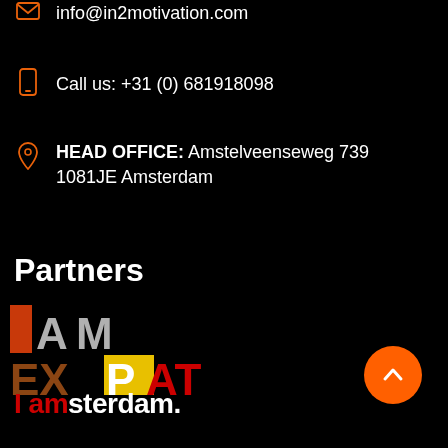info@in2motivation.com
Call us: +31 (0) 681918098
HEAD OFFICE: Amstelveenseweg 739 1081JE Amsterdam
Partners
[Figure (logo): I AM EXPAT logo with colorful block letters]
[Figure (logo): I amsterdam logo in red and white text]
[Figure (other): Orange circular scroll-to-top button with upward chevron]